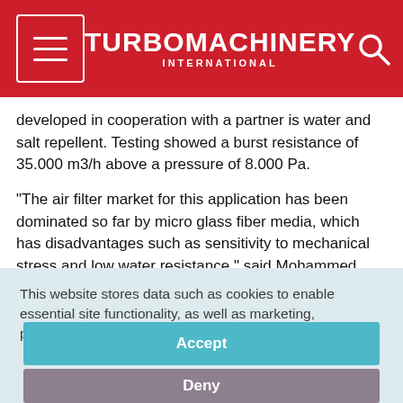TURBOMACHINERY INTERNATIONAL
developed in cooperation with a partner is water and salt repellent. Testing showed a burst resistance of 35.000 m3/h above a pressure of 8.000 Pa.
“The air filter market for this application has been dominated so far by micro glass fiber media, which has disadvantages such as sensitivity to mechanical stress and low water resistance,” said Mohammed Asif, Business Development Manager, Middle East & Africa, Mann+Hummel. “The synthetic
This website stores data such as cookies to enable essential site functionality, as well as marketing, personalization, and analytics. Cookie Policy
Accept
Deny